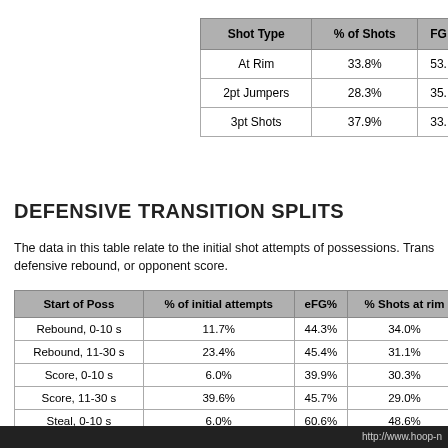| Shot Type | % of Shots | FG% |
| --- | --- | --- |
| At Rim | 33.8% | 53. |
| 2pt Jumpers | 28.3% | 35. |
| 3pt Shots | 37.9% | 33. |
DEFENSIVE TRANSITION SPLITS
The data in this table relate to the initial shot attempts of possessions. Trans defensive rebound, or opponent score.
| Start of Poss | % of initial attempts | eFG% | % Shots at rim |
| --- | --- | --- | --- |
| Rebound, 0-10 s | 11.7% | 44.3% | 34.0% |
| Rebound, 11-30 s | 23.4% | 45.4% | 31.1% |
| Score, 0-10 s | 6.0% | 39.9% | 30.3% |
| Score, 11-30 s | 39.6% | 45.7% | 29.0% |
| Steal, 0-10 s | 6.0% | 60.6% | 48.6% |
| Steal, 11-30 s | 2.2% | 44.9% | 20.5% |
| Transition | 23.7% | 47.3% | 36.7% |
http://www.hoop-n